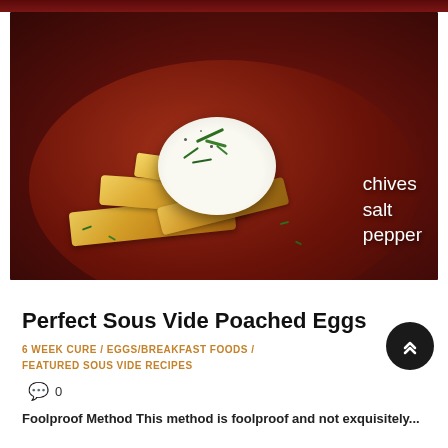[Figure (photo): A dark ceramic bowl/plate with crispy golden toast soldiers and a poached egg on top, garnished with chopped chives, salt and pepper. Text overlay reads: chives, salt, pepper.]
Perfect Sous Vide Poached Eggs
6 WEEK CURE / EGGS/BREAKFAST FOODS / FEATURED SOUS VIDE RECIPES
0
Foolproof Method This method is foolproof and not exquisitely...